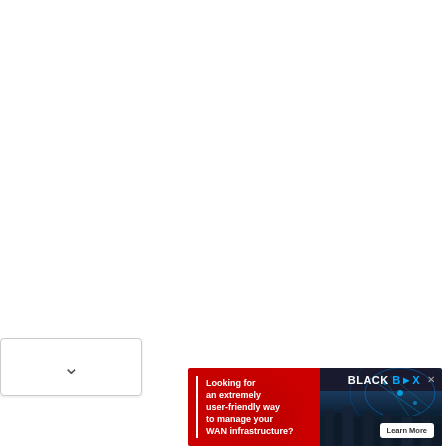[Figure (other): Dropdown/collapse button with chevron down arrow, positioned lower left of page]
[Figure (other): Advertisement banner: red left panel with text 'Looking for an extremely user-friendly way to manage your WAN infrastructure?' with white vertical divider, and right panel showing city skyline with network connectivity overlay, BLACK BOX branding, play icon, close button, and Learn More button]